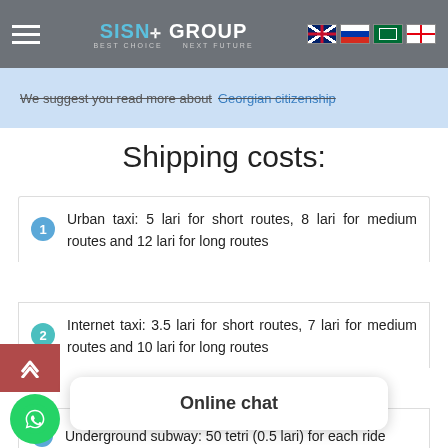SISNO GROUP - Best Choice, Next Future
We suggest you read more about Georgian citizenship
Shipping costs:
Urban taxi: 5 lari for short routes, 8 lari for medium routes and 12 lari for long routes
Internet taxi: 3.5 lari for short routes, 7 lari for medium routes and 10 lari for long routes
City bus: 50 tetri (0.5 lari) for each ride
Underground subway: 50 tetri (0.5 lari) for each ride